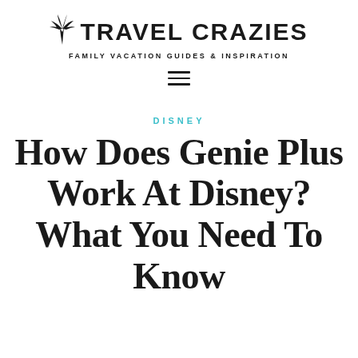TRAVEL CRAZIES — FAMILY VACATION GUIDES & INSPIRATION
DISNEY
How Does Genie Plus Work At Disney? What You Need To Know